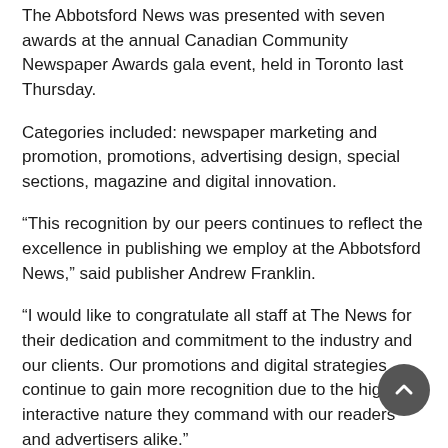The Abbotsford News was presented with seven awards at the annual Canadian Community Newspaper Awards gala event, held in Toronto last Thursday.
Categories included: newspaper marketing and promotion, promotions, advertising design, special sections, magazine and digital innovation.
“This recognition by our peers continues to reflect the excellence in publishing we employ at the Abbotsford News,” said publisher Andrew Franklin.
“I would like to congratulate all staff at The News for their dedication and commitment to the industry and our clients. Our promotions and digital strategies continue to gain more recognition due to the highly interactive nature they command with our readers and advertisers alike.”